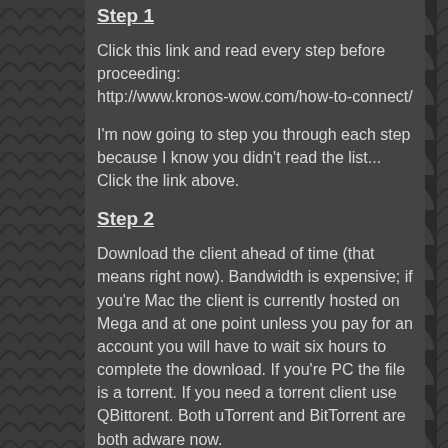Step 1
Click this link and read every step before proceeding:
http://www.kronos-wow.com/how-to-connect/
I'm now going to step you through each step because I know you didn't read the list... Click the link above.
Step 2
Download the client ahead of time (that means right now). Bandwidth is expensive; if you're Mac the client is currently hosted on Mega and at one point unless you pay for an account you will have to wait six hours to complete the download. If you're PC the file is a torrent. If you need a torrent client use QBittorent. Both uTorrent and BitTorrent are both adware now.
Step 3